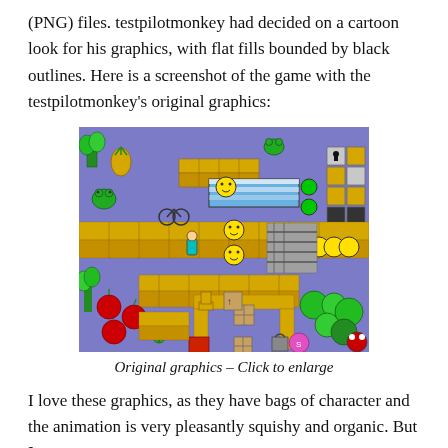(PNG) files. testpilotmonkey had decided on a cartoon look for his graphics, with flat fills bounded by black outlines. Here is a screenshot of the game with the testpilotmonkey's original graphics:
[Figure (screenshot): A colorful retro 2D game screenshot with cartoon-style graphics showing a tile-based level with yellow brick paths, green plants, pineapples, frogs, smiley face characters, a red monster, a bicycle, apple items, keys, lock tiles, boxes, and a pink coin/token. The background is purple/blue. The style has flat fills with black outlines.]
Original graphics – Click to enlarge
I love these graphics, as they have bags of character and the animation is very pleasantly squishy and organic. But I